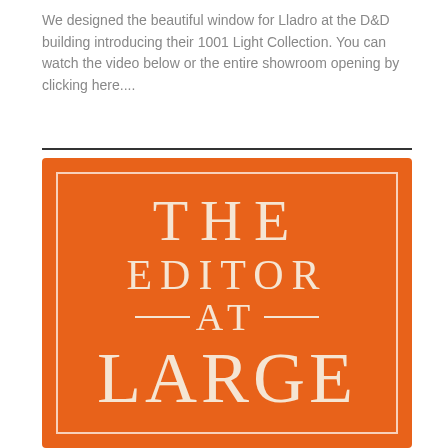We designed the beautiful window for Lladro at the D&D building introducing their 1001 Light Collection. You can watch the video below or the entire showroom opening by clicking here....
[Figure (logo): The Editor at Large logo — orange rectangular background with white serif text reading 'THE EDITOR —AT— LARGE', with inner white border frame]